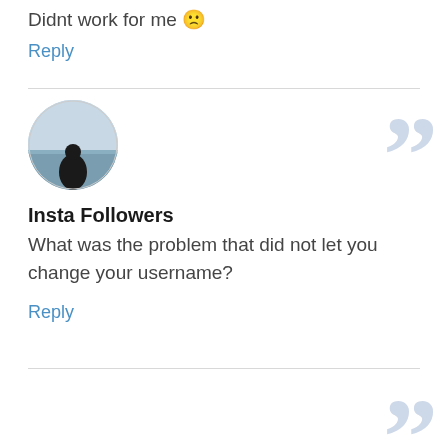Didnt work for me 🙁
Reply
Insta Followers
What was the problem that did not let you change your username?
Reply